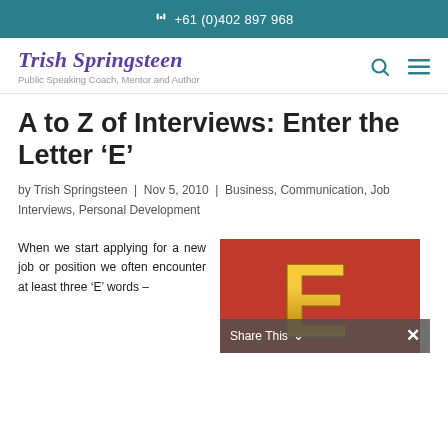+61 (0)402 897 968
[Figure (logo): Trish Springsteen logo with name in italic purple and tagline 'Public Speaking Coach, Mentor and Author']
A to Z of Interviews: Enter the Letter ‘E’
by Trish Springsteen | Nov 5, 2010 | Business, Communication, Job Interviews, Personal Development
When we start applying for a new job or position we often encounter at least three ‘E’ words –
[Figure (photo): Gold letter E on red background]
Share This